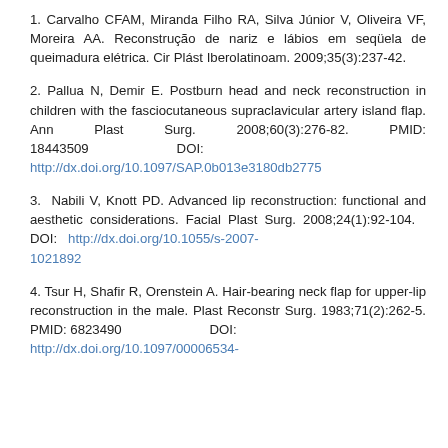1. Carvalho CFAM, Miranda Filho RA, Silva Júnior V, Oliveira VF, Moreira AA. Reconstrução de nariz e lábios em seqüela de queimadura elétrica. Cir Plást Iberolatinoam. 2009;35(3):237-42.
2. Pallua N, Demir E. Postburn head and neck reconstruction in children with the fasciocutaneous supraclavicular artery island flap. Ann Plast Surg. 2008;60(3):276-82. PMID: 18443509 DOI: http://dx.doi.org/10.1097/SAP.0b013e3180db2775
3. Nabili V, Knott PD. Advanced lip reconstruction: functional and aesthetic considerations. Facial Plast Surg. 2008;24(1):92-104. DOI: http://dx.doi.org/10.1055/s-2007-1021892
4. Tsur H, Shafir R, Orenstein A. Hair-bearing neck flap for upper-lip reconstruction in the male. Plast Reconstr Surg. 1983;71(2):262-5. PMID: 6823490 DOI: http://dx.doi.org/10.1097/00006534-